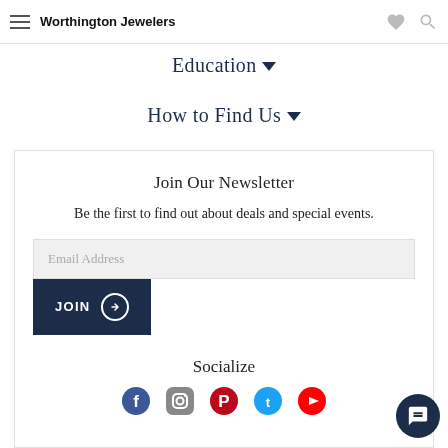Worthington Jewelers
Education ▼
How to Find Us ▼
Join Our Newsletter
Be the first to find out about deals and special events.
Email Address
JOIN →
Socialize